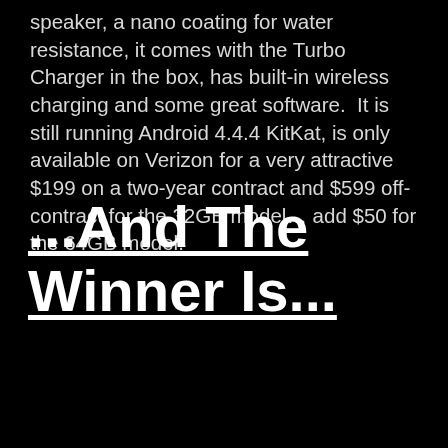speaker, a nano coating for water resistance, it comes with the Turbo Charger in the box, has built-in wireless charging and some great software.  It is still running Android 4.4.4 KitKat, is only available on Verizon for a very attractive $199 on a two-year contract and $599 off-contract for the 32GB model… add $50 for the 64GB model.
...And The Winner Is...